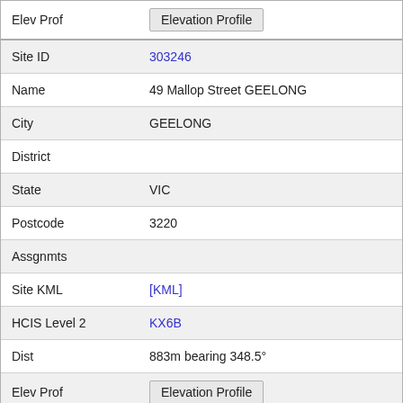| Field | Value |
| --- | --- |
| Elev Prof | Elevation Profile |
| Site ID | 303246 |
| Name | 49 Mallop Street GEELONG |
| City | GEELONG |
| District |  |
| State | VIC |
| Postcode | 3220 |
| Assgnmts |  |
| Site KML | [KML] |
| HCIS Level 2 | KX6B |
| Dist | 883m bearing 348.5° |
| Elev Prof | Elevation Profile |
| Site ID | 10022873 |
| Name | Myer Westfield 105 Malop Street GEELONG |
| City | GEELONG |
| District |  |